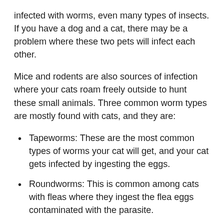infected with worms, even many types of insects. If you have a dog and a cat, there may be a problem where these two pets will infect each other.
Mice and rodents are also sources of infection where your cats roam freely outside to hunt these small animals. Three common worm types are mostly found with cats, and they are:
Tapeworms: These are the most common types of worms your cat will get, and your cat gets infected by ingesting the eggs.
Roundworms: This is common among cats with fleas where they ingest the flea eggs contaminated with the parasite.